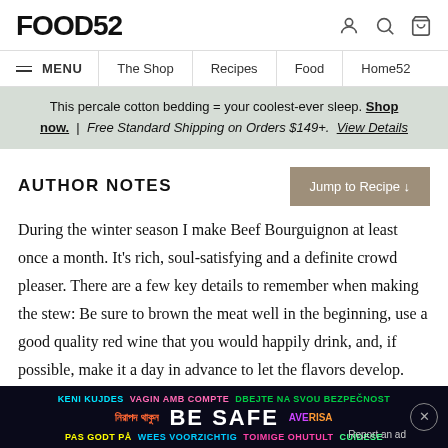FOOD52
≡ MENU  The Shop  Recipes  Food  Home52
This percale cotton bedding = your coolest-ever sleep. Shop now.  |  Free Standard Shipping on Orders $149+.  View Details
AUTHOR NOTES
Jump to Recipe ↓
During the winter season I make Beef Bourguignon at least once a month. It's rich, soul-satisfying and a definite crowd pleaser. There are a few key details to remember when making the stew: Be sure to brown the meat well in the beginning, use a good quality red wine that you would happily drink, and, if possible, make it a day in advance to let the flavors develop. Over time, I have also found that adding some tomato paste and a little brown sugar to the
[Figure (other): BE SAFE public safety advertisement overlay in dark background with multilingual text]